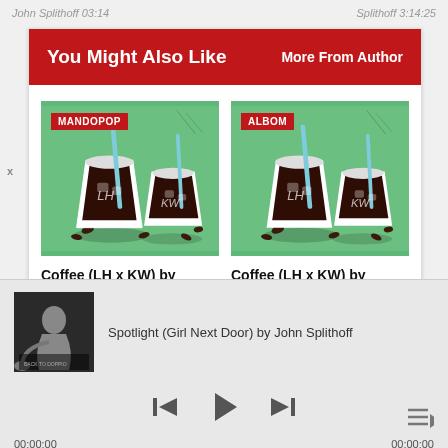John Splithoff 03:14 | Splithoff 3:14:25
You Might Also Like | More From Author
[Figure (photo): Album art for Coffee (LH x KW) - two illustrated iced coffee cups on green background, with MANDOPOP badge]
Coffee (LH x KW) by LuHan & Kris Wu 03:14
[Figure (photo): Album art for Coffee (LH x KW) - two illustrated iced coffee cups on green background, with ALBOM badge]
Coffee (LH x KW) by LuHan & Kris Wu
[Figure (photo): Small album art thumbnail for John Splithoff - black and white photo]
Spotlight (Girl Next Door) by John Splithoff
00:00:00    00:00:00